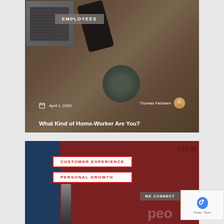[Figure (photo): Blog post card showing a desk with laptop, smartphone, and coffee cup on wooden surface with dark overlay]
EMPLOYEES
April 1, 2020
Thomas Fairbairn
What Kind of Home-Worker Are You?
[Figure (photo): Blog post card with dark blue and dark red background with overlaid large text]
CUSTOMER EXPERIENCE
PERSONAL GROWTH
WE CONNECT